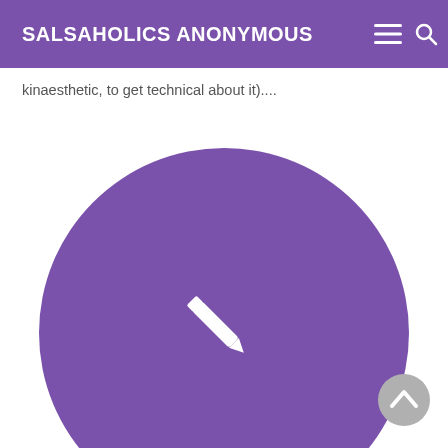SALSAHOLICS ANONYMOUS
kinaesthetic, to get technical about it)....
[Figure (illustration): Large purple circle with a white pencil/edit icon in the center, representing a blog post author avatar or edit button placeholder.]
[Figure (other): Gray circular back-to-top button with a white upward chevron arrow, positioned in the bottom-right corner.]